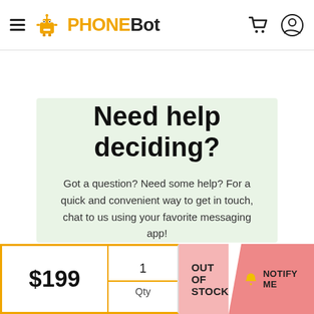PHONEBOT - navigation header with hamburger menu, logo, cart and user icons
Need help deciding?
Got a question? Need some help? For a quick and convenient way to get in touch, chat to us using your favorite messaging app!
$199
1
Qty
OUT OF STOCK
NOTIFY ME